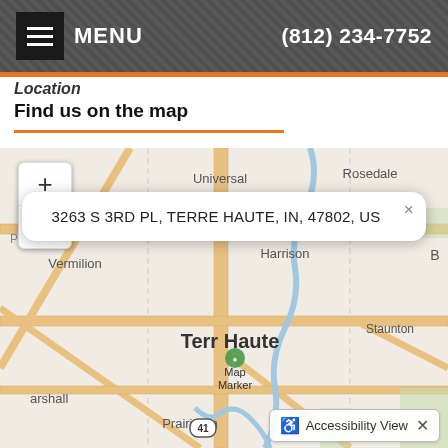MENU | (812) 234-7752
Location
Find us on the map
[Figure (map): Street map centered on Terre Haute, Indiana showing surrounding areas: Universal, Rosedale, Vermilion, Harrison, Staunton, Marshall, Prairieton. Map marker placed at location in Terre Haute with popup showing address: 3263 S 3RD PL, TERRE HAUTE, IN, 47802, US. Zoom controls (+/-) visible on left side. Route 41 visible. Accessibility View button at bottom right.]